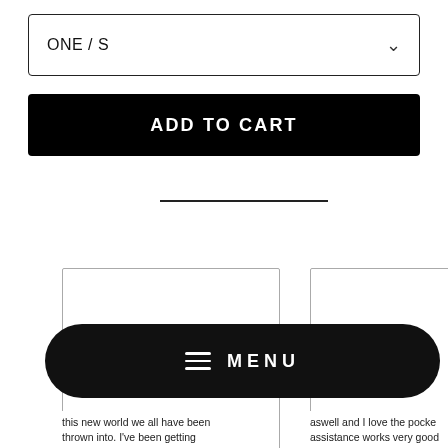ONE / S
ADD TO CART
[Figure (screenshot): Left product image card placeholder, white with border]
[Figure (screenshot): Right product image card placeholder, partially visible, white with border]
this new world we all have been thrown into. I've been getting
aswell and I love the pocket assistance works very good
MENU